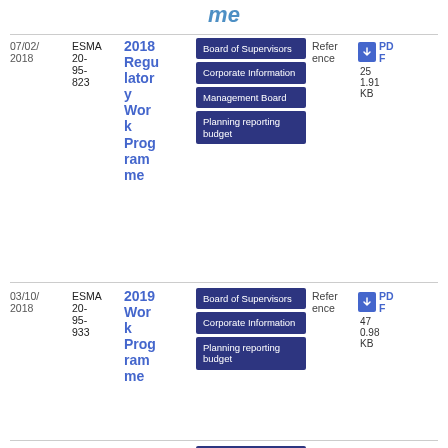me
| Date | Reference | Title | Tags | Ref | PDF/Size |
| --- | --- | --- | --- | --- | --- |
| 07/02/2018 | ESMA 20-95-823 | 2018 Regulatory Work Programme | Board of Supervisors | Corporate Information | Management Board | Planning reporting budget | Reference | PDF 25 1.91 KB |
| 03/10/2018 | ESMA 20-95-933 | 2019 Work Programme | Board of Supervisors | Corporate Information | Planning reporting budget | Reference | PDF 47 0.98 KB |
| 01/10/2019 | ESMA 20- | 2020 Wor... | Board of Supervisors | Reference | PDF |